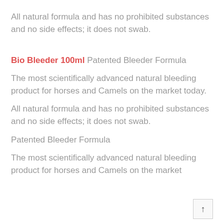All natural formula and has no prohibited substances and no side effects; it does not swab.
Bio Bleeder 100ml Patented Bleeder Formula
The most scientifically advanced natural bleeding product for horses and Camels on the market today.
All natural formula and has no prohibited substances and no side effects; it does not swab.
Patented Bleeder Formula
The most scientifically advanced natural bleeding product for horses and Camels on the market